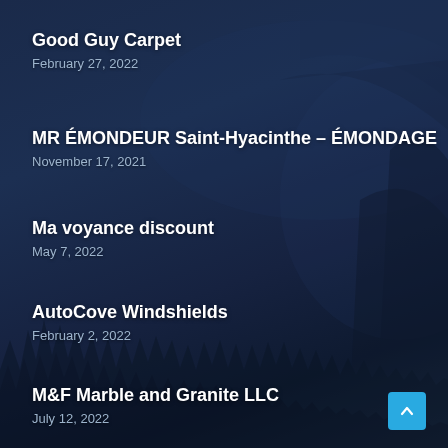Good Guy Carpet
February 27, 2022
MR ÉMONDEUR Saint-Hyacinthe – ÉMONDAGE
November 17, 2021
Ma voyance discount
May 7, 2022
AutoCove Windshields
February 2, 2022
M&F Marble and Granite LLC
July 12, 2022